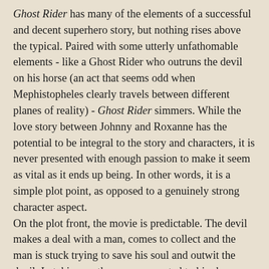Ghost Rider has many of the elements of a successful and decent superhero story, but nothing rises above the typical. Paired with some utterly unfathomable elements - like a Ghost Rider who outruns the devil on his horse (an act that seems odd when Mephistopheles clearly travels between different planes of reality) - Ghost Rider simmers. While the love story between Johnny and Roxanne has the potential to be integral to the story and characters, it is never presented with enough passion to make it seem as vital as it ends up being. In other words, it is a simple plot point, as opposed to a genuinely strong character aspect.
On the plot front, the movie is predictable. The devil makes a deal with a man, comes to collect and the man is stuck trying to save his soul and outwit the devil. In taking on the powers granted to him by Mephistopheles, Johnny meets a mentor (Caretaker), puts a loved one in peril, and slowly dispatches his enemies. The movie has the pretty typical moments of training or understanding where the protagonist slowly learns his powers and limitations and the film climaxes, like virtually every superhero film, in a big battle sequence. But, again, in Ghost Rider, the elements feel more typical and